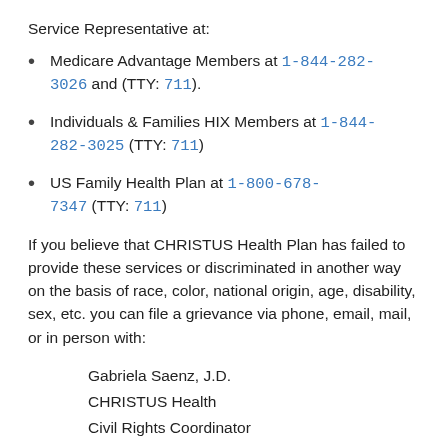Service Representative at:
Medicare Advantage Members at 1-844-282-3026 and (TTY: 711).
Individuals & Families HIX Members at 1-844-282-3025 (TTY: 711)
US Family Health Plan at 1-800-678-7347 (TTY: 711)
If you believe that CHRISTUS Health Plan has failed to provide these services or discriminated in another way on the basis of race, color, national origin, age, disability, sex, etc. you can file a grievance via phone, email, mail, or in person with:
Gabriela Saenz, J.D.
CHRISTUS Health
Civil Rights Coordinator